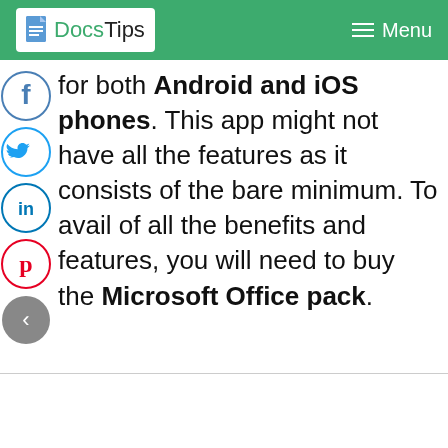Docs Tips | Menu
for both Android and iOS phones. This app might not have all the features as it consists of the bare minimum. To avail of all the benefits and features, you will need to buy the Microsoft Office pack.